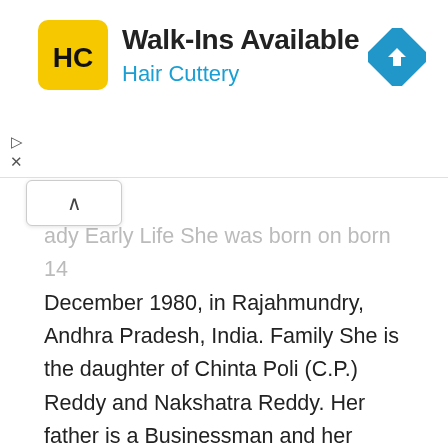[Figure (advertisement): Hair Cuttery ad banner with yellow HC logo, text 'Walk-Ins Available' and 'Hair Cuttery' in blue, and a blue diamond navigation icon on the right]
...ady Early Life She was born on born 14 December 1980, in Rajahmundry, Andhra Pradesh, India. Family She is the daughter of Chinta Poli (C.P.) Reddy and Nakshatra Reddy. Her father is a Businessman and her mother is a Microbiologist. Education [...]
Actress, Biography, Film Actress, Internet Personality, Media Personalities, Social Media Personality, Television Personality, Tv Personality